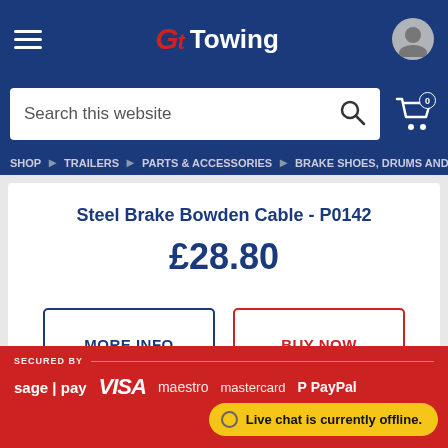GL Towing
Search this website
SHOP > TRAILERS > PARTS & ACCESSORIES > BRAKE SHOES, DRUMS AND
Steel Brake Bowden Cable - P0142
£28.80
MORE INFO
BUY NOW
SECURED BY sage | pay VISA maestro mastercard PayPal
Live chat is currently offline.